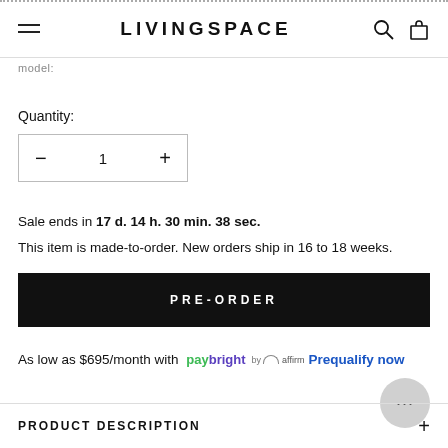LIVINGSPACE
model:
Quantity:
Sale ends in 17 d. 14 h. 30 min. 38 sec.
This item is made-to-order. New orders ship in 16 to 18 weeks.
PRE-ORDER
As low as $695/month with paybright by affirm Prequalify now
PRODUCT DESCRIPTION